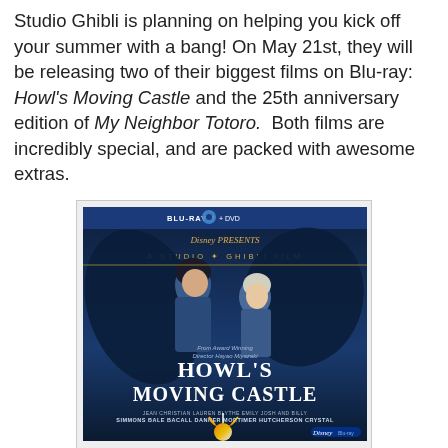Studio Ghibli is planning on helping you kick off your summer with a bang! On May 21st, they will be releasing two of their biggest films on Blu-ray: Howl's Moving Castle and the 25th anniversary edition of My Neighbor Totoro.  Both films are incredibly special, and are packed with awesome extras.
[Figure (photo): Blu-ray + DVD cover of Howl's Moving Castle by Studio Ghibli / Disney. Dark blue background with anime characters (Howl and Sophie). Title 'HOWL'S MOVING CASTLE' in large stylized text. Cast names along the bottom. Disney Blu-ray logo in corner.]